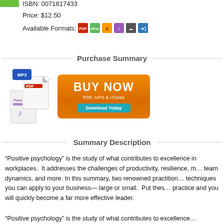ISBN: 0071817433
Price: $12.50
Available Formats: [PDF] [ePub] [Amazon] [iTunes] [Mobi] [Audio]
Purchase Summary
[Figure (other): Buy Now button with PDF, MP3 & iTunes label and Download Today sub-button, alongside stacked file icons for MP3, PDF, and iTunes]
Summary Description
“Positive psychology” is the study of what contributes to excellence in workplaces. It addresses the challenges of productivity, resilience, m… team dynamics, and more. In this summary, two renowned practition… techniques you can apply to your business— large or small. Put thes… practice and you will quickly become a far more effective leader.
“Positive psychology” is the study of what contributes to excellence…